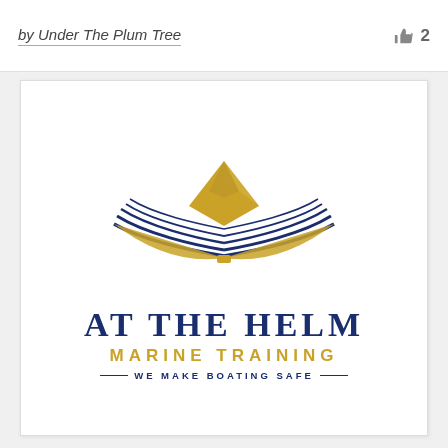by Under The Plum Tree  👍 2
[Figure (logo): At The Helm Marine Training logo: an open book with navy blue pages and gold spine, with a gold diamond/boat shape rising from the center. Text below reads AT THE HELM in large navy serif letters, MARINE TRAINING in gold sans-serif letters, and —WE MAKE BOATING SAFE— in small navy letters with em-dashes.]